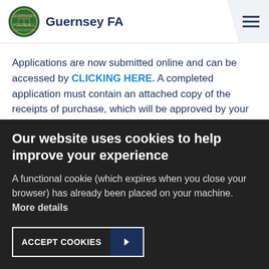Guernsey FA
Applications are now submitted online and can be accessed by CLICKING HERE. A completed application must contain an attached copy of the receipts of purchase, which will be approved by your local County FA, then processed by The FA for payment.
If you have any questions regarding the League IT grants
Our website uses cookies to help improve your experience
A functional cookie (which expires when you close your browser) has already been placed on your machine. More details
ACCEPT COOKIES